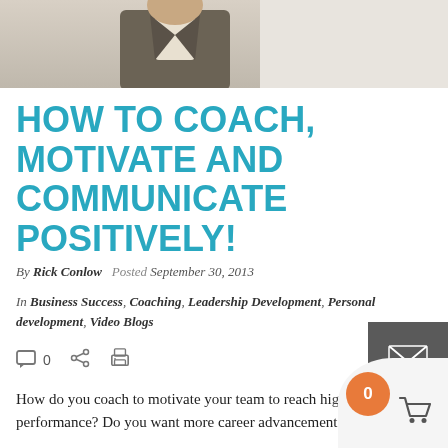[Figure (photo): Cropped photo of a person in business attire, only lower face/neck/shoulder area visible against a light background.]
HOW TO COACH, MOTIVATE AND COMMUNICATE POSITIVELY!
By Rick Conlow  Posted September 30, 2013
In Business Success, Coaching, Leadership Development, Personal development, Video Blogs
How do you coach to motivate your team to reach high performance? Do you want more career advancement and